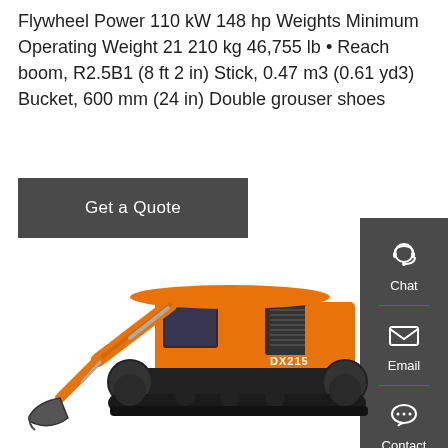Flywheel Power 110 kW 148 hp Weights Minimum Operating Weight 21 210 kg 46,755 lb • Reach boom, R2.5B1 (8 ft 2 in) Stick, 0.47 m3 (0.61 yd3) Bucket, 600 mm (24 in) Double grouser shoes
[Figure (other): Get a Quote button (dark grey rectangular button with white text)]
[Figure (other): Sidebar with Chat (headset icon), Email (envelope icon), and Contact (speech bubble icon) buttons on dark grey background with red dividers]
[Figure (photo): Doosan DX215 orange excavator with black undercarriage, boom arm extended to the left with bucket, cabin visible, photographed from the right side on white background]